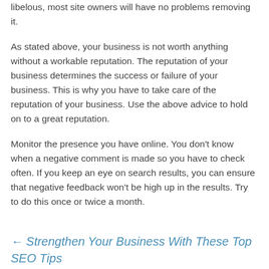libelous, most site owners will have no problems removing it.
As stated above, your business is not worth anything without a workable reputation. The reputation of your business determines the success or failure of your business. This is why you have to take care of the reputation of your business. Use the above advice to hold on to a great reputation.
Monitor the presence you have online. You don't know when a negative comment is made so you have to check often. If you keep an eye on search results, you can ensure that negative feedback won't be high up in the results. Try to do this once or twice a month.
← Strengthen Your Business With These Top SEO Tips
Proven Web Page Design Tips That Anyone Can Follow →